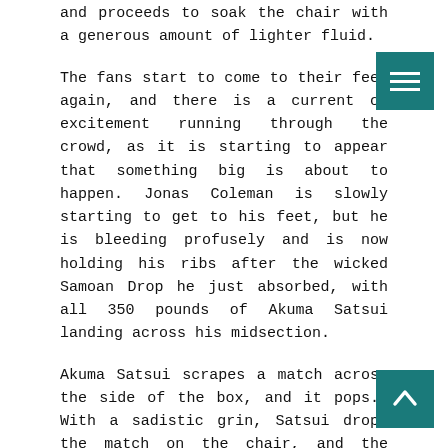and proceeds to soak the chair with a generous amount of lighter fluid.
The fans start to come to their feet again, and there is a current of excitement running through the crowd, as it is starting to appear that something big is about to happen. Jonas Coleman is slowly starting to get to his feet, but he is bleeding profusely and is now holding his ribs after the wicked Samoan Drop he just absorbed, with all 350 pounds of Akuma Satsui landing across his midsection.
Akuma Satsui scrapes a match across the side of the box, and it pops.  With a sadistic grin, Satsui drops the match on the chair, and the wooden chair ignites!  The fans come unglued, as Akuma Satsui holds the flaming steel chair high over his head, and screams at the top of his lungs.
Erik Masters: We've had weapons, barbed wire, and